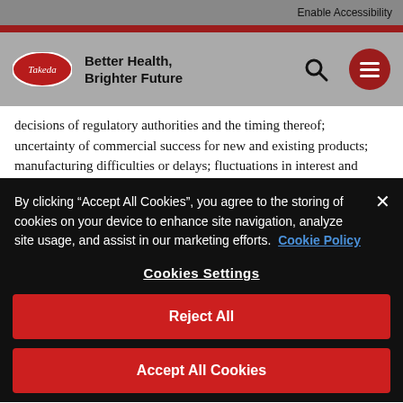Enable Accessibility
[Figure (logo): Takeda logo oval with tagline Better Health, Brighter Future and search/menu icons]
decisions of regulatory authorities and the timing thereof; uncertainty of commercial success for new and existing products; manufacturing difficulties or delays; fluctuations in interest and currency exchange
By clicking “Accept All Cookies”, you agree to the storing of cookies on your device to enhance site navigation, analyze site usage, and assist in our marketing efforts. Cookie Policy
Cookies Settings
Reject All
Accept All Cookies